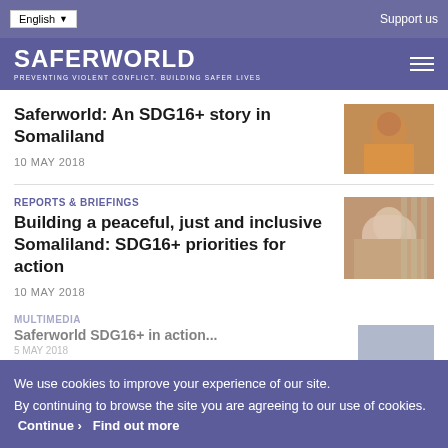English | Support us
SAFERWORLD — PREVENTING VIOLENT CONFLICT. BUILDING SAFER LIVES
Saferworld: An SDG16+ story in Somaliland
10 MAY 2018
REPORTS & BRIEFINGS
Building a peaceful, just and inclusive Somaliland: SDG16+ priorities for action
10 MAY 2018
We use cookies to improve your experience of our site. By continuing to browse the site you are agreeing to our use of cookies.  Continue ›  Find out more
MULTIMEDIA
Saferworld SDG16+ in action...
5 MAY 2018